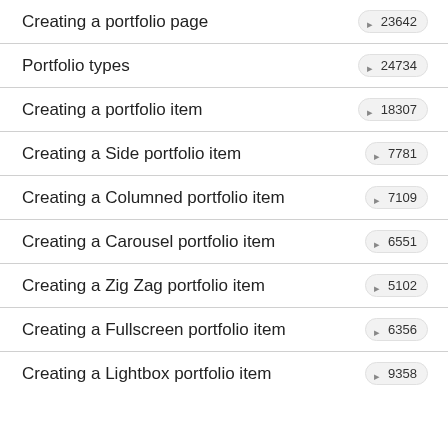Creating a portfolio page
Portfolio types
Creating a portfolio item
Creating a Side portfolio item
Creating a Columned portfolio item
Creating a Carousel portfolio item
Creating a Zig Zag portfolio item
Creating a Fullscreen portfolio item
Creating a Lightbox portfolio item